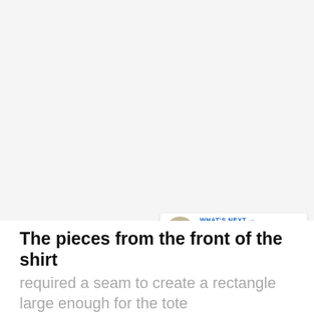[Figure (photo): Large image area showing pieces of fabric from the front of a shirt, mostly blank/white in this crop]
[Figure (infographic): Social sharing sidebar with Facebook (f), Twitter (bird), and Pinterest (P) icons on the left; heart/save button and share button on the right with count 42.4K; 'What's Next' banner with DIY Seashell Mirror thumbnail]
The pieces from the front of the shirt
required a seam to create a rectangle large enough for the tote